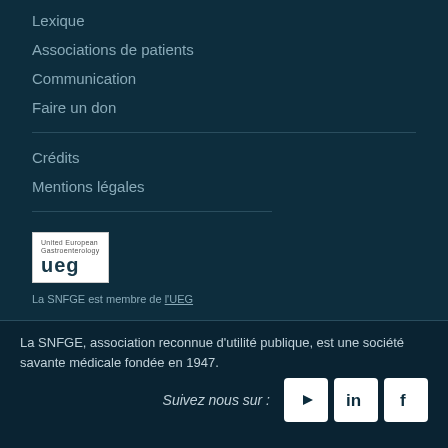Lexique
Associations de patients
Communication
Faire un don
Crédits
Mentions légales
[Figure (logo): UEG (United European Gastroenterology) logo — white box with 'ueg' text]
La SNFGE est membre de l'UEG
La SNFGE, association reconnue d'utilité publique, est une société savante médicale fondée en 1947.
Suivez nous sur :
[Figure (logo): YouTube, LinkedIn, and Facebook social media icons in white rounded square boxes]